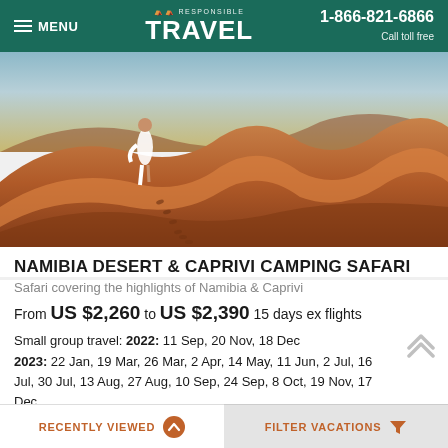MENU | RESPONSIBLE TRAVEL | 1-866-821-6866 Call toll free
[Figure (photo): Person walking on red sand desert dunes leaving footprints, Namibia desert landscape]
NAMIBIA DESERT & CAPRIVI CAMPING SAFARI
Safari covering the highlights of Namibia & Caprivi
From US $2,260 to US $2,390 15 days ex flights
Small group travel: 2022: 11 Sep, 20 Nov, 18 Dec 2023: 22 Jan, 19 Mar, 26 Mar, 2 Apr, 14 May, 11 Jun, 2 Jul, 16 Jul, 30 Jul, 13 Aug, 27 Aug, 10 Sep, 24 Sep, 8 Oct, 19 Nov, 17 Dec
(Read 2 reviews)
RECENTLY VIEWED | FILTER VACATIONS